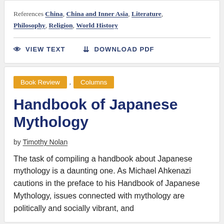References China, China and Inner Asia, Literature, Philosophy, Religion, World History
VIEW TEXT   DOWNLOAD PDF
Book Review , Columns
Handbook of Japanese Mythology
by Timothy Nolan
The task of compiling a handbook about Japanese mythology is a daunting one. As Michael Ahkenazi cautions in the preface to his Handbook of Japanese Mythology, issues connected with mythology are politically and socially vibrant, and